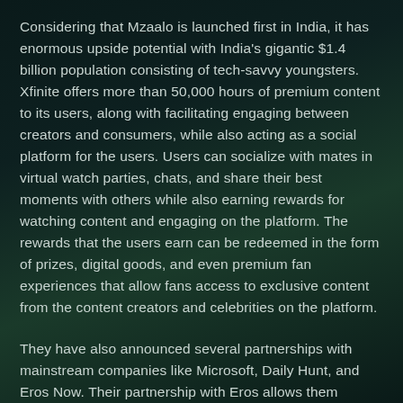Considering that Mzaalo is launched first in India, it has enormous upside potential with India's gigantic $1.4 billion population consisting of tech-savvy youngsters. Xfinite offers more than 50,000 hours of premium content to its users, along with facilitating engaging between creators and consumers, while also acting as a social platform for the users. Users can socialize with mates in virtual watch parties, chats, and share their best moments with others while also earning rewards for watching content and engaging on the platform. The rewards that the users earn can be redeemed in the form of prizes, digital goods, and even premium fan experiences that allow fans access to exclusive content from the content creators and celebrities on the platform.
They have also announced several partnerships with mainstream companies like Microsoft, Daily Hunt, and Eros Now. Their partnership with Eros allows them access to their huge user base of over 200 million, out of which over 36 million users are paid subscribers. The XET token is the native